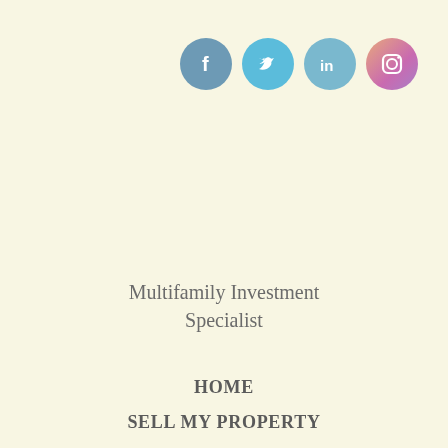[Figure (infographic): Four social media icons (Facebook, Twitter, LinkedIn, Instagram) as colored circles with white logos, positioned in the top right area]
Multifamily Investment Specialist
HOME
SELL MY PROPERTY
RESOURCES
ABOUT US
CONTACT